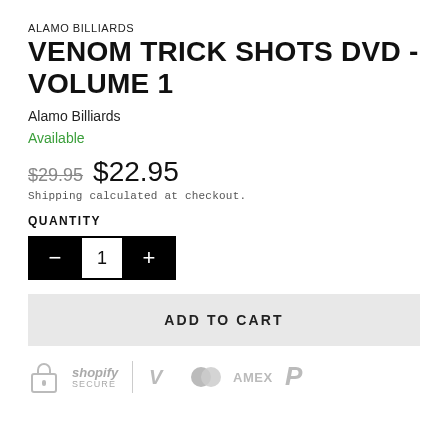ALAMO BILLIARDS
VENOM TRICK SHOTS DVD - VOLUME 1
Alamo Billiards
Available
$29.95 $22.95
Shipping calculated at checkout.
QUANTITY
[Figure (other): Quantity selector with minus button, number 1, and plus button]
ADD TO CART
[Figure (other): Payment trust badges: Shopify Secure lock icon, Visa, Mastercard, AMEX, PayPal logos in grey]